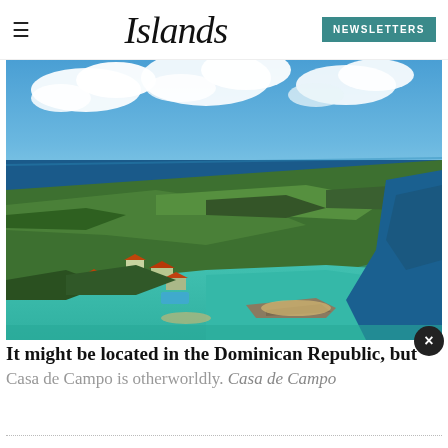Islands — NEWSLETTERS
[Figure (photo): Aerial photograph of Casa de Campo resort coastline in the Dominican Republic, showing lush green landscape, resort buildings with terracotta roofs, sandy coves, rocky breakwaters, and vivid turquoise/blue Caribbean sea water, with a partly cloudy blue sky above.]
It might be located in the Dominican Republic, but Casa de Campo is otherworldly. Casa de Campo